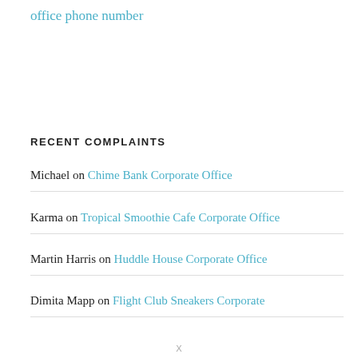office phone number
RECENT COMPLAINTS
Michael on Chime Bank Corporate Office
Karma on Tropical Smoothie Cafe Corporate Office
Martin Harris on Huddle House Corporate Office
Dimita Mapp on Flight Club Sneakers Corporate
X